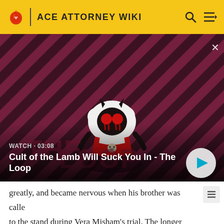ACE ATTORNEY WIKI
[Figure (screenshot): Video thumbnail for 'Cult of the Lamb Will Suck You In - The Loop' with WATCH · 03:08 label on a red diagonal-striped background featuring a cartoon lamb character with a play button overlay]
WATCH · 03:08
Cult of the Lamb Will Suck You In - The Loop
greatly, and became nervous when his brother was called to the stand during Vera Misham's trial. The longer Just took to pin anything definitive on Kristoph, the more Klavier appeared to take Kristoph's side. In the end, however, he was able to resolve his inner turmoil,